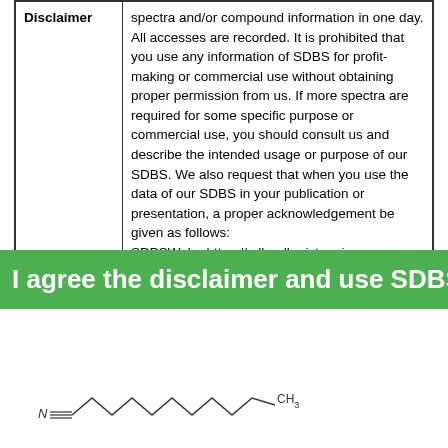| Disclaimer |  |
| --- | --- |
| Disclaimer | spectra and/or compound information in one day. All accesses are recorded. It is prohibited that you use any information of SDBS for profit-making or commercial use without obtaining proper permission from us. If more spectra are required for some specific purpose or commercial use, you should consult us and describe the intended usage or purpose of our SDBS. We also request that when you use the data of our SDBS in your publication or presentation, a proper acknowledgement be given as follows:
SDBSWeb : https://sdbs.db.aist.go.jp
(National Institute of Advanced Industrial Science and Technology, date of access) |
I agree the disclaimer and use SDBS
[Figure (illustration): Chemical structure diagram of a molecule with a nitrile group (C≡N), a chain of CH2 groups, and a CH3 terminal group]